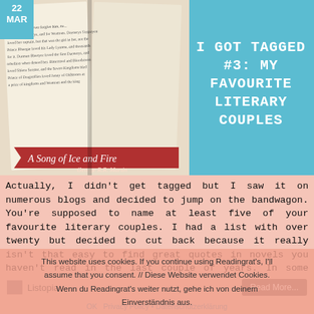22 MAR
I GOT TAGGED #3: MY FAVOURITE LITERARY COUPLES
[Figure (photo): Photo of a book open to a page referencing Rhaegar and Lyanna from A Song of Ice and Fire by George R.R. Martin, with a red ribbon bookmark]
Actually, I didn't get tagged but I saw it on numerous blogs and decided to jump on the bandwagon. You're supposed to name at least five of your favourite literary couples. I had a list with over twenty but decided to cut back because it really isn't that easy to find great quotes in novels you haven't read in the last couple of years. In some cases, I remembered what I wanted and where I could find it, in others I got lucky and just stumbled upon a great quote. So here are my twelve favourite literary couples in no particular order – well, except for the first one because Rhaegar and Lyanna are my absolute OTP ...
This website uses cookies. If you continue using Readingrat's, I'll assume that you consent. // Diese Website verwendet Cookies. Wenn du Readingrat's weiter nutzt, gehe ich von deinem Einverständnis aus.
Listopia
Read More...
OK   Privacy Policy • Datenschutzerklärung